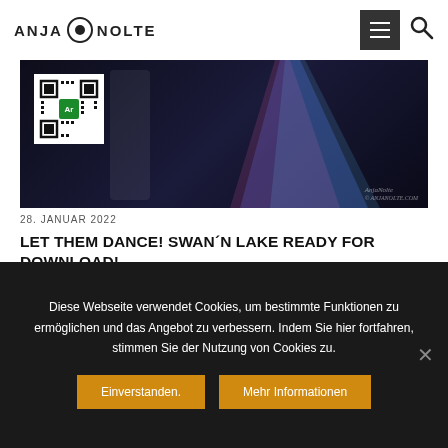ANJA NOLTE
[Figure (photo): Dark concert/performance photo with QR code overlay on left side, colorful light beam in center-right, and a signature watermark bottom right]
28. JANUAR 2022
LET THEM DANCE! SWAN´N LAKE READY FOR DOWNLOAD!
Krodita has extended her skills: The new augmented reality edition SWAN`N LAKE is ready and available for free download. The sophisticated choreography à la Tchaikovsky's ballet Swan 'N...
Diese Webseite verwendet Cookies, um bestimmte Funktionen zu ermöglichen und das Angebot zu verbessern. Indem Sie hier fortfahren, stimmen Sie der Nutzung von Cookies zu.
Einverstanden.
Mehr Informationen